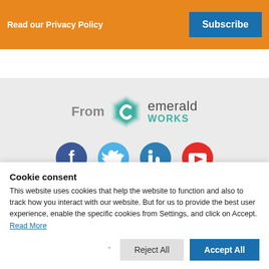Read our Privacy Policy
Subscribe
[Figure (logo): Emerald Works logo with hexagon icon and text 'emerald WORKS', preceded by 'From' label]
[Figure (illustration): Social media icons row: Facebook, Twitter, LinkedIn, YouTube]
Cookie consent
This website uses cookies that help the website to function and also to track how you interact with our website. But for us to provide the best user experience, enable the specific cookies from Settings, and click on Accept. Read More
Reject All
Accept All